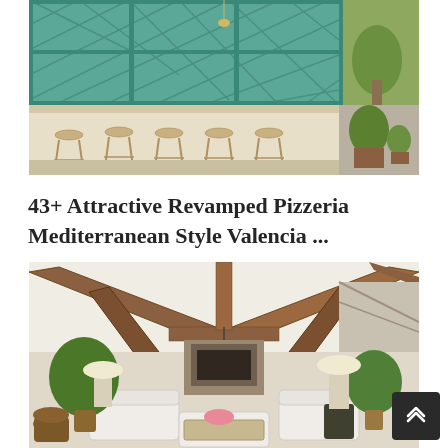[Figure (photo): Interior of a Mediterranean-style pizzeria bar with teal lattice window frames, marble bar counter, and wooden bar stools on a terrazzo floor. Potted plants on the right side.]
43+ Attractive Revamped Pizzeria Mediterranean Style Valencia ...
[Figure (photo): Rustic barn-style living room with exposed wooden beam trusses, stone fireplace, white sofas, potted trees, and hanging lantern light fixtures.]